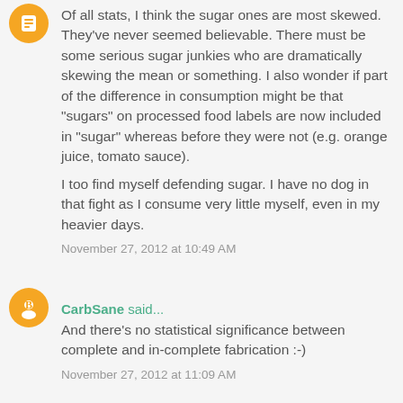Of all stats, I think the sugar ones are most skewed. They've never seemed believable. There must be some serious sugar junkies who are dramatically skewing the mean or something. I also wonder if part of the difference in consumption might be that "sugars" on processed food labels are now included in "sugar" whereas before they were not (e.g. orange juice, tomato sauce).

I too find myself defending sugar. I have no dog in that fight as I consume very little myself, even in my heavier days.
November 27, 2012 at 10:49 AM
CarbSane said...
And there's no statistical significance between complete and in-complete fabrication :-)
November 27, 2012 at 11:09 AM